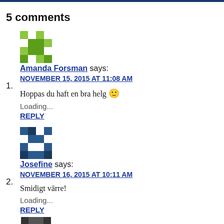5 comments
1. Amanda Forsman says: NOVEMBER 15, 2015 AT 11:08 AM
Hoppas du haft en bra helg 🙂
Loading...
REPLY
2. Josefine says: NOVEMBER 16, 2015 AT 10:11 AM
Smidigt värre!
Loading...
REPLY